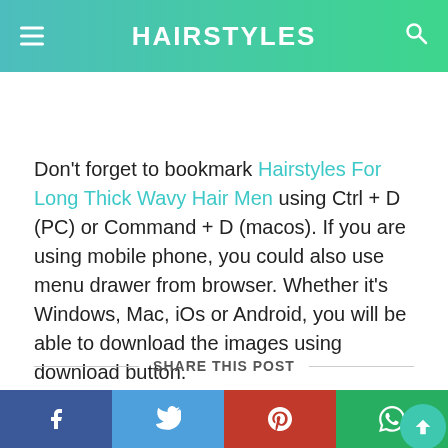HAIRSTYLES
Don't forget to bookmark Hairstyles For Long Thick Wavy Hair Men using Ctrl + D (PC) or Command + D (macos). If you are using mobile phone, you could also use menu drawer from browser. Whether it's Windows, Mac, iOs or Android, you will be able to download the images using download button.
SHARE THIS POST